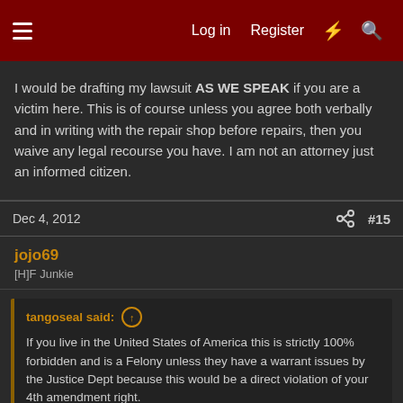Log in  Register  #15
I would be drafting my lawsuit AS WE SPEAK if you are a victim here. This is of course unless you agree both verbally and in writing with the repair shop before repairs, then you waive any legal recourse you have. I am not an attorney just an informed citizen.
Dec 4, 2012  #15
jojo69
[H]F Junkie
tangoseal said: If you live in the United States of America this is strictly 100% forbidden and is a Felony unless they have a warrant issues by the Justice Dept because this would be a direct violation of your 4th amendment right.
This would be considered a breech of your privacy as well as your